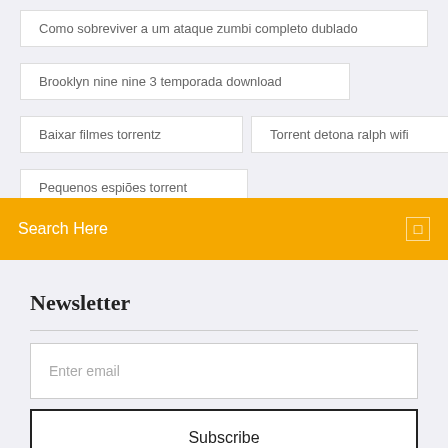Como sobreviver a um ataque zumbi completo dublado
Brooklyn nine nine 3 temporada download
Baixar filmes torrentz
Torrent detona ralph wifi
Pequenos espiões torrent
Search Here
Newsletter
Enter email
Subscribe